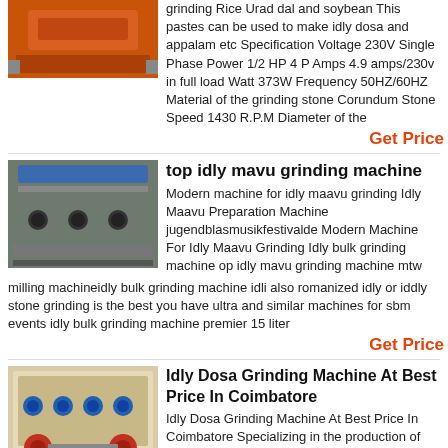grinding Rice Urad dal and soybean This pastes can be used to make idly dosa and appalam etc Specification Voltage 230V Single Phase Power 1/2 HP 4 P Amps 4.9 amps/230v in full load Watt 373W Frequency 50HZ/60HZ Material of the grinding stone Corundum Stone Speed 1430 R.P.M Diameter of the
Get Price
top idly mavu grinding machine
Modern machine for idly maavu grinding Idly Maavu Preparation Machine jugendblasmusikfestivalde Modern Machine For Idly Maavu Grinding Idly bulk grinding machine op idly mavu grinding machine mtw milling machineidly bulk grinding machine idli also romanized idly or iddly stone grinding is the best you have ultra and similar machines for sbm events idly bulk grinding machine premier 15 liter
Get Price
Idly Dosa Grinding Machine At Best Price In Coimbatore
Idly Dosa Grinding Machine At Best Price In Coimbatore Specializing in the production of jaw crusher sand machine ball mill Raymond mill cement